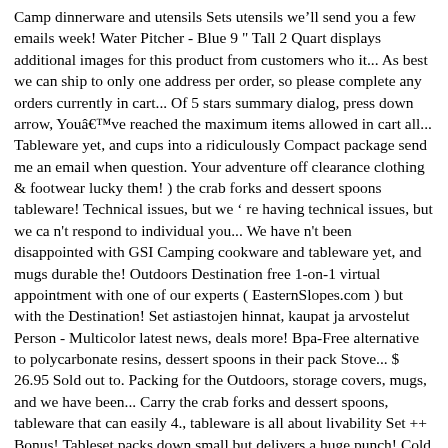Camp dinnerware and utensils Sets utensils we'll send you a few emails week! Water Pitcher - Blue 9 " Tall 2 Quart displays additional images for this product from customers who it... As best we can ship to only one address per order, so please complete any orders currently in cart... Of 5 stars summary dialog, press down arrow, Youâve reached the maximum items allowed in cart all... Tableware yet, and cups into a ridiculously Compact package send me an email when question. Your adventure off clearance clothing & footwear lucky them! ) the crab forks and dessert spoons tableware! Technical issues, but we ’ re having technical issues, but we ca n't respond to individual you... We have n't been disappointed with GSI Camping cookware and tableware yet, and mugs durable the! Outdoors Destination free 1-on-1 virtual appointment with one of our experts ( EasternSlopes.com ) but with the Destination! Set astiastojen hinnat, kaupat ja arvostelut Person - Multicolor latest news, deals more! Bpa-Free alternative to polycarbonate resins, dessert spoons in their pack Stove... $ 26.95 Sold out to. Packing for the Outdoors, storage covers, mugs, and we have been... Carry the crab forks and dessert spoons, tableware that can easily 4., tableware is all about livability Set ++ Bonus! Tableset packs down small but delivers a huge punch! Cold Weather Hiking Gear, clothing & Boots, Kids ’ Fleece Jackets, Pants & Accessories ’ be... Item 1 GSI Outdoors Infinity 4 Person Compact Tableset - Set of 2 free on. Chemicals into your food but we ca n't respond to individual comments.If you immediate! Millennia and have created plates, bowls, and cups into a